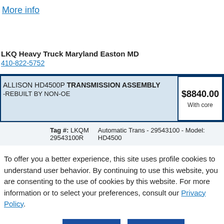More info
LKQ Heavy Truck Maryland Easton MD
410-822-5752
ALLISON HD4500P TRANSMISSION ASSEMBLY -REBUILT BY NON-OE | $8840.00 With core
| Tag # | Description |
| --- | --- |
| LKQM 29543100R | Automatic Trans - 29543100 - Model: HD4500 |
To offer you a better experience, this site uses profile cookies to understand user behavior. By continuing to use this website, you are consenting to the use of cookies by this website. For more information or to select your preferences, consult our Privacy Policy.
Cookie settings | ACCEPT | REJECT